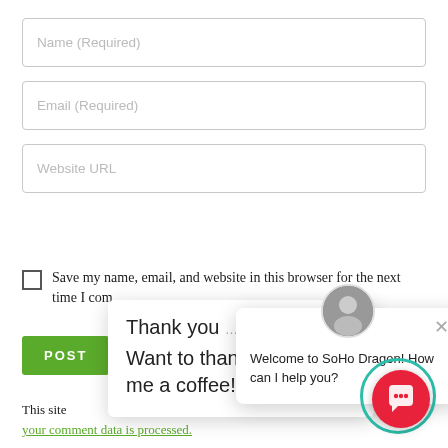[Figure (screenshot): Web form with three input fields: Name (Required), Email (Required), Website URL]
Save my name, email, and website in this browser for the next time I comment.
[Figure (screenshot): Green POST button (partially visible)]
[Figure (infographic): Popup card saying 'Thank you' and 'Want to thank me? buy me a coffee!']
[Figure (infographic): Chat widget popup with avatar, close button, and text: Welcome to SoHo Dragon! How can I help you?]
This site
arn
your comment data is processed.